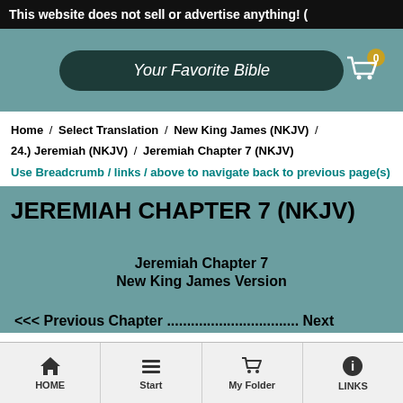This website does not sell or advertise anything! (
[Figure (screenshot): Website header with 'Your Favorite Bible' button on teal background, cart icon top right]
Home / Select Translation / New King James (NKJV) / 24.) Jeremiah (NKJV) / Jeremiah Chapter 7 (NKJV)
Use Breadcrumb / links / above to navigate back to previous page(s)
JEREMIAH CHAPTER 7 (NKJV)
Jeremiah Chapter 7
New King James Version
<<< Previous Chapter ................................. Next
HOME | Start | My Folder | LINKS